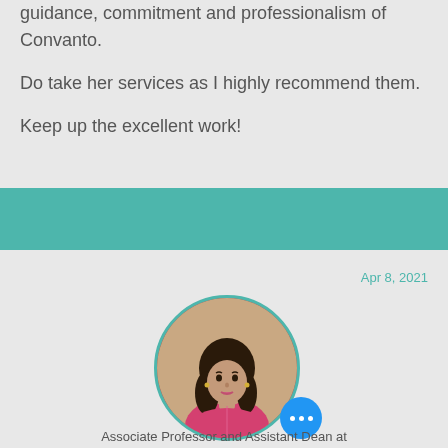guidance, commitment and professionalism of Convanto.
Do take her services as I highly recommend them.
Keep up the excellent work!
[Figure (other): Teal/turquoise horizontal divider bar]
Apr 8, 2021
[Figure (photo): Circular profile photo of a woman wearing a pink outfit, with a teal border ring]
Associate Professor and Assistant Dean at